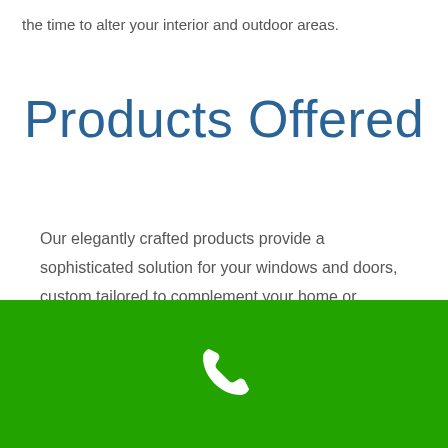the time to alter your interior and outdoor areas.
Products Offered
Our elegantly crafted products provide a sophisticated solution for your windows and doors, custom tailored to complement your home or workplace environment. Our portfolio includes high-quality external shade and weather control solutions that may be used for practically any
[Figure (illustration): White phone/call icon on green background footer bar]